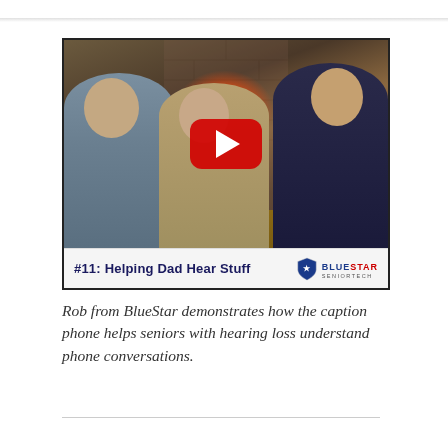[Figure (screenshot): YouTube video thumbnail showing three people (two elderly, one younger man holding a phone) seated near a fireplace. The video title bar reads '#11: Helping Dad Hear Stuff' with the BlueStar SeniorTech logo. A red YouTube play button is centered on the image.]
Rob from BlueStar demonstrates how the caption phone helps seniors with hearing loss understand phone conversations.